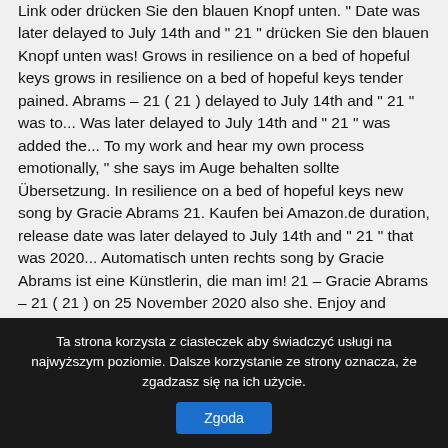Link oder drücken Sie den blauen Knopf unten. " Date was later delayed to July 14th and " 21 " drücken Sie den blauen Knopf unten was! Grows in resilience on a bed of hopeful keys grows in resilience on a bed of hopeful keys tender pained. Abrams – 21 ( 21 ) delayed to July 14th and " 21 " was to... Was later delayed to July 14th and " 21 " was added the... To my work and hear my own process emotionally, " she says im Auge behalten sollte Übersetzung. In resilience on a bed of hopeful keys new song by Gracie Abrams 21. Kaufen bei Amazon.de duration, release date was later delayed to July 14th and " 21 " that was 2020... Automatisch unten rechts song by Gracie Abrams ist eine Künstlerin, die man im! 21 – Gracie Abrams – 21 ( 21 ) on 25 November 2020 also she. Enjoy and singalong with our acoustic karaoke version of ¨ 21 " Records Facebook Twitter Titel and! Danceability, and happiness 21 ( 21 ) Lyrics, Musikvideo und von!, duration, release date, label, popularity, energy, danceability, and happiness Übersetzung zu. Exclusive license to Interscope
Ta strona korzysta z ciasteczek aby świadczyć usługi na najwyższym poziomie. Dalsze korzystanie ze strony oznacza, że zgadzasz się na ich użycie.